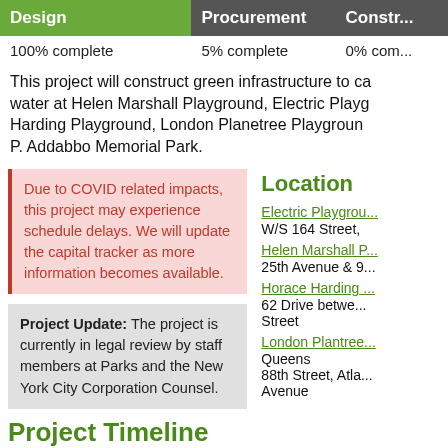| Design | Procurement | Constr... |
| --- | --- | --- |
| 100% complete | 5% complete | 0% com... |
This project will construct green infrastructure to capture water at Helen Marshall Playground, Electric Playground, Horace Harding Playground, London Planetree Playground, and Joseph P. Addabbo Memorial Park.
Due to COVID related impacts, this project may experience schedule delays. We will update the capital tracker as more information becomes available.
Project Update: The project is currently in legal review by staff members at Parks and the New York City Corporation Counsel.
Location
Electric Playground
W/S 164 Street,
Helen Marshall P...
25th Avenue & 9...
Horace Harding...
62 Drive between... Street
London Plantree...
Queens
88th Street, Atla... Avenue
Project Timeline
Design